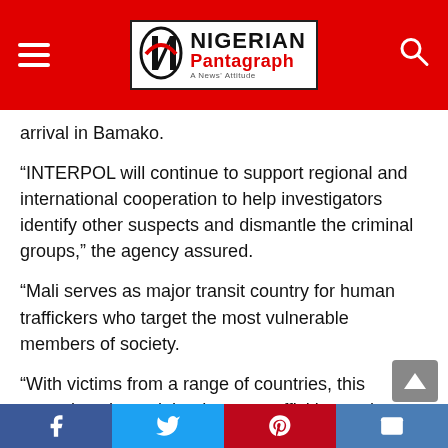Nigerian Pantagraph
arrival in Bamako.
“INTERPOL will continue to support regional and international cooperation to help investigators identify other suspects and dismantle the criminal groups,” the agency assured.
“Mali serves as major transit country for human traffickers who target the most vulnerable members of society.
“With victims from a range of countries, this operation showed that human trafficking and people smuggling is a truly transnational problem,” said Secretary-General Jürgen Stock.